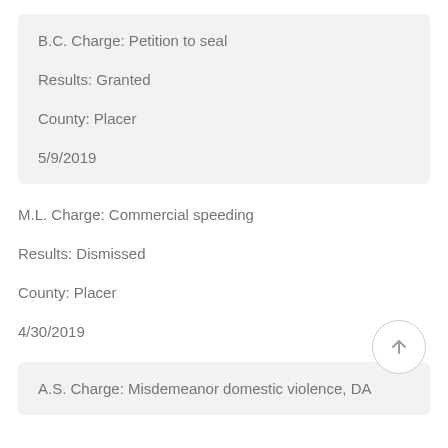B.C. Charge: Petition to seal
Results: Granted
County: Placer
5/9/2019
M.L. Charge: Commercial speeding
Results: Dismissed
County: Placer
4/30/2019
A.S. Charge: Misdemeanor domestic violence, DA